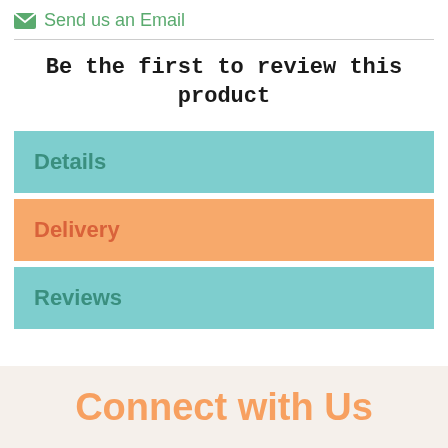✉ Send us an Email
Be the first to review this product
Details
Delivery
Reviews
Connect with Us